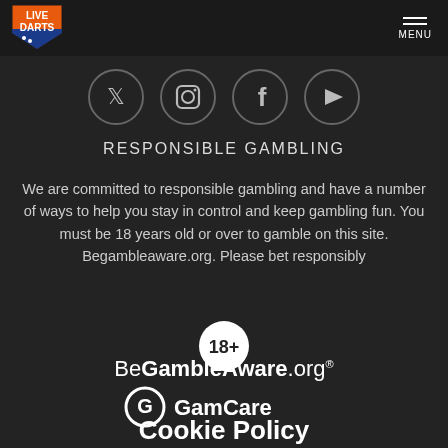[Figure (logo): Live Darts logo - orange and blue shield with text LIVE DARTS]
[Figure (infographic): Social media icons row: Twitter, Instagram, Facebook, YouTube - circular outlined icons on dark background]
RESPONSIBLE GAMBLING
We are committed to responsible gambling and have a number of ways to help you stay in control and keep gambling fun. You must be 18 years old or over to gamble on this site. Begambleaware.org. Please bet responsibly
[Figure (logo): 18+ badge - white circle with 18+ text in dark]
[Figure (logo): BeGambleAware.org logo in white text]
[Figure (logo): GamCare logo with G icon and GamCare text in white]
Cookie Policy